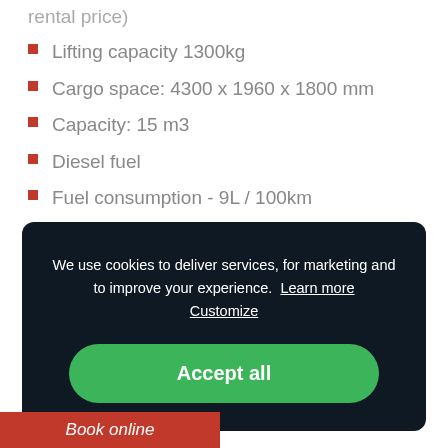rental price)
Lifting capacity 1300kg
Cargo space: 4300 x 1960 x 1800 mm
Capacity: 15 m3
Diesel fuel
Fuel consumption - 9L / 100km
Fuel tank - 80L
We use cookies to deliver services, for marketing and to improve your experience.  Learn more  Customize
Accept all
Book online